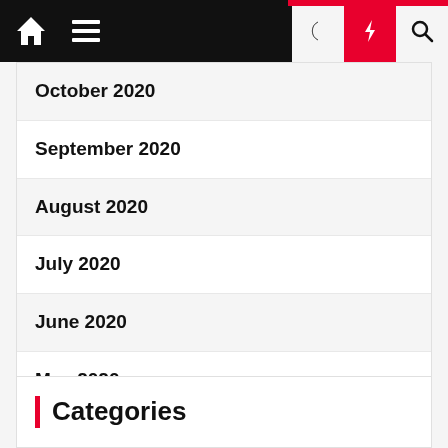Navigation bar with home, hamburger menu, moon, bolt, and search icons
October 2020
September 2020
August 2020
July 2020
June 2020
May 2020
April 2020
March 2020
Categories